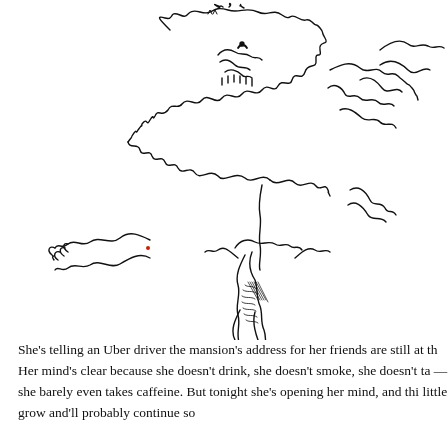[Figure (illustration): A loose, expressive pen-and-ink sketch showing abstract swirling forms resembling a large creature or figure with flowing, organic lines at the top, and below it a figure that appears to be climbing or struggling, with claw-like hands and spiky features. The drawing style is gestural and energetic.]
She's telling an Uber driver the mansion's address for her friends are still at th Her mind's clear because she doesn't drink, she doesn't smoke, she doesn't ta —she barely even takes caffeine. But tonight she's opening her mind, and thi little grow and'll probably continue so